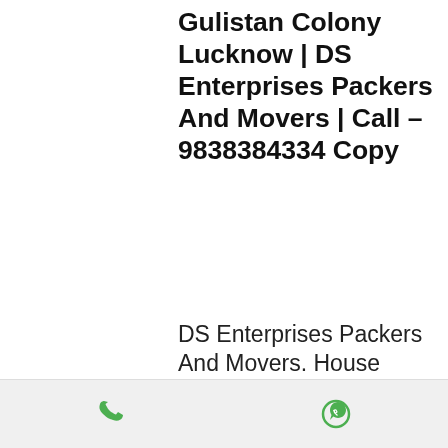Gulistan Colony Lucknow | DS Enterprises Packers And Movers | Call – 9838384334 Copy
DS Enterprises Packers And Movers. House Shifting, Office Relocation, Car Transportation, Local Shifting, Inter-state Shifting, Warehouse Services provider. Call – 9838384334
There is a huge increase in the number of packers and movers services in Gulistan
[Figure (other): Footer bar with phone icon and WhatsApp icon on a light grey background]